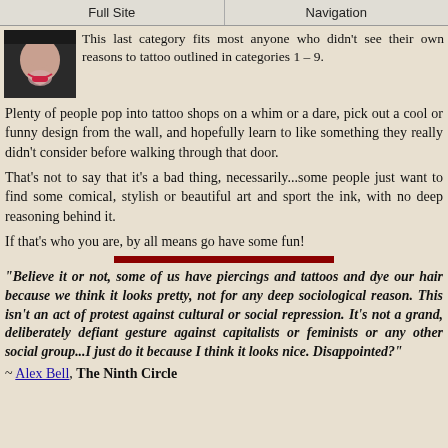Full Site | Navigation
This last category fits most anyone who didn't see their own reasons to tattoo outlined in categories 1 – 9.
Plenty of people pop into tattoo shops on a whim or a dare, pick out a cool or funny design from the wall, and hopefully learn to like something they really didn't consider before walking through that door.
That's not to say that it's a bad thing, necessarily...some people just want to find some comical, stylish or beautiful art and sport the ink, with no deep reasoning behind it.
If that's who you are, by all means go have some fun!
“Believe it or not, some of us have piercings and tattoos and dye our hair because we think it looks pretty, not for any deep sociological reason. This isn’t an act of protest against cultural or social repression. It’s not a grand, deliberately defiant gesture against capitalists or feminists or any other social group...I just do it because I think it looks nice. Disappointed?”
~ Alex Bell, The Ninth Circle